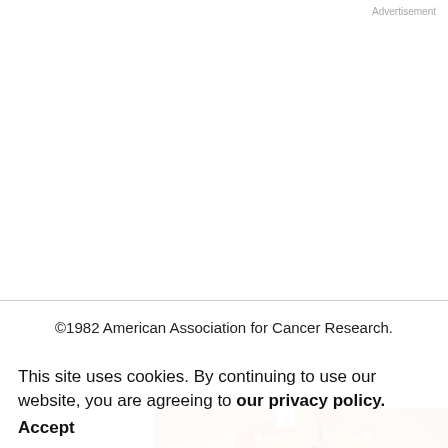Advertisement
©1982 American Association for Cancer Research.
Advertisement
[Figure (photo): AACR MONARCA advertisement banner featuring monarch butterflies on a warm golden background, with green text reading 'AACR MONARCA (MAXIMIZING OPPORTUNITY FOR NEW ADVANCEMENTS IN RESEARCH IN CANCER) GRANT FOR LATIN AMERICA' and AACR logo at bottom.]
This site uses cookies. By continuing to use our website, you are agreeing to our privacy policy. Accept